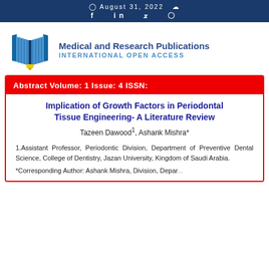August 31, 2022   f  in  y  (instagram)
[Figure (logo): Open book logo with pen for Medical and Research Publications]
Medical and Research Publications INTERNATIONAL OPEN ACCESS
Abstract Volume: 1 Issue: 4 ISSN:
Implication of Growth Factors in Periodontal Tissue Engineering- A Literature Review
Tazeen Dawood1, Ashank Mishra*
1.Assistant Professor, Periodontic Division, Department of Preventive Dental Science, College of Dentistry, Jazan University, Kingdom of Saudi Arabia.
*Corresponding Author: Ashank Mishra, Division, Department...